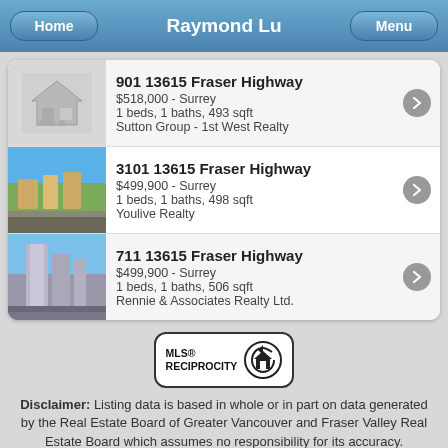Home | Raymond Lu | Menu
901 13615 Fraser Highway
$518,000 - Surrey
1 beds, 1 baths, 493 sqft
Sutton Group - 1st West Realty
3101 13615 Fraser Highway
$499,900 - Surrey
1 beds, 1 baths, 498 sqft
Youlive Realty
711 13615 Fraser Highway
$499,900 - Surrey
1 beds, 1 baths, 506 sqft
Rennie & Associates Realty Ltd.
[Figure (logo): MLS Reciprocity logo — circular house icon with MLS® RECIPROCITY text]
Disclaimer: Listing data is based in whole or in part on data generated by the Real Estate Board of Greater Vancouver and Fraser Valley Real Estate Board which assumes no responsibility for its accuracy.